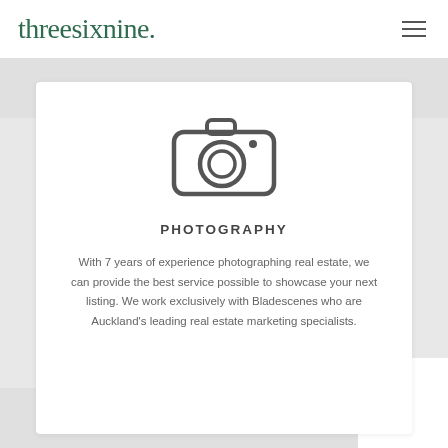threesixnine.
[Figure (illustration): Camera icon — outline style, rounded rectangular body with a circular lens in the center and a small viewfinder bump on top right]
PHOTOGRAPHY
With 7 years of experience photographing real estate, we can provide the best service possible to showcase your next listing. We work exclusively with Bladescenes who are Auckland's leading real estate marketing specialists.